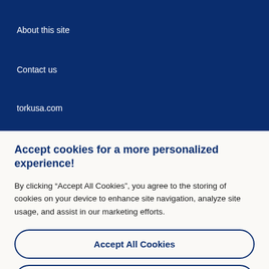About this site
Contact us
torkusa.com
Essity is a leading global hygiene and health company that develops, produces…
Accept cookies for a more personalized experience!
By clicking “Accept All Cookies”, you agree to the storing of cookies on your device to enhance site navigation, analyze site usage, and assist in our marketing efforts.
Accept All Cookies
Manage your choices